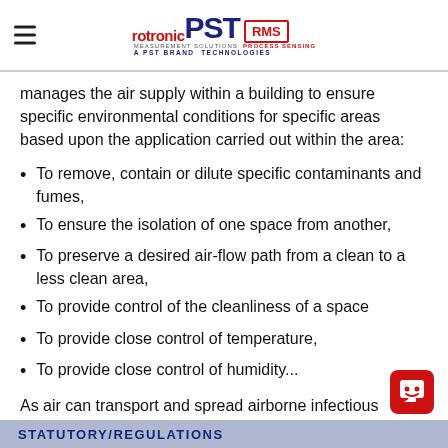rotronic PST RMS — MEASUREMENT SOLUTIONS PROCESS SENSING TECHNOLOGIES A PST BRAND
manages the air supply within a building to ensure specific environmental conditions for specific areas based upon the application carried out within the area:
To remove, contain or dilute specific contaminants and fumes,
To ensure the isolation of one space from another,
To preserve a desired air-flow path from a clean to a less clean area,
To provide control of the cleanliness of a space
To provide close control of temperature,
To provide close control of humidity...
As air can transport and spread airborne infectious a it is crucial to ensure that the HVAC is working correct
STATUTORY/REGULATIONS